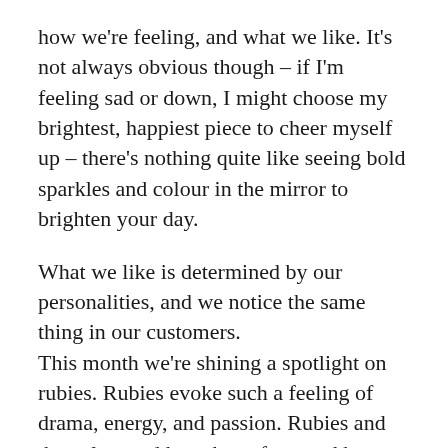how we're feeling, and what we like. It's not always obvious though – if I'm feeling sad or down, I might choose my brightest, happiest piece to cheer myself up – there's nothing quite like seeing bold sparkles and colour in the mirror to brighten your day.
What we like is determined by our personalities, and we notice the same thing in our customers. This month we're shining a spotlight on rubies. Rubies evoke such a feeling of drama, energy, and passion. Rubies and the colour red have been favoured by